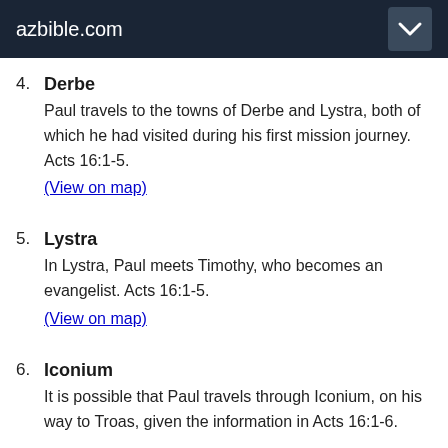azbible.com
4. Derbe
Paul travels to the towns of Derbe and Lystra, both of which he had visited during his first mission journey. Acts 16:1-5.
(View on map)
5. Lystra
In Lystra, Paul meets Timothy, who becomes an evangelist. Acts 16:1-5.
(View on map)
6. Iconium
It is possible that Paul travels through Iconium, on his way to Troas, given the information in Acts 16:1-6.